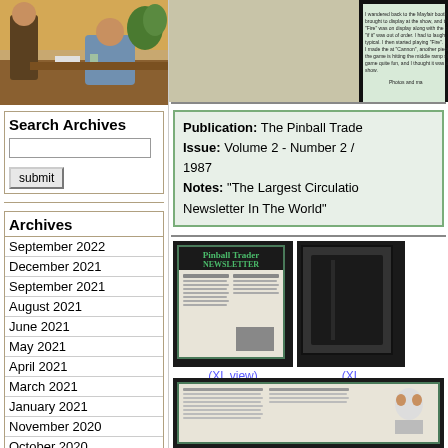[Figure (photo): Photo of two men at a table, one seated signing something, indoor setting with plants]
Search Archives
[Figure (screenshot): Search input box with submit button]
Archives
September 2022
December 2021
September 2021
August 2021
June 2021
May 2021
April 2021
March 2021
January 2021
November 2020
October 2020
September 2020
August 2019
[Figure (screenshot): Top right area showing partial text about Mayfair booth and pinball game experience]
Publication: The Pinball Trade
Issue: Volume 2 - Number 2 / 1987
Notes: "The Largest Circulation Newsletter In The World"
[Figure (photo): Framed Pinball Trader Newsletter cover in black frame]
(XL view)
[Figure (photo): Partial dark framed image on right]
(XL...
[Figure (photo): Bottom framed newsletter page with cartoon illustration]